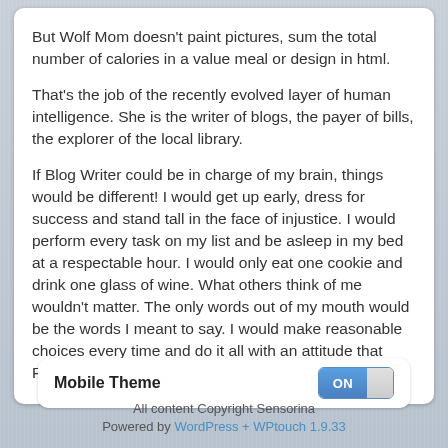But Wolf Mom doesn't paint pictures, sum the total number of calories in a value meal or design in html.
That's the job of the recently evolved layer of human intelligence. She is the writer of blogs, the payer of bills, the explorer of the local library.
If Blog Writer could be in charge of my brain, things would be different! I would get up early, dress for success and stand tall in the face of injustice. I would perform every task on my list and be asleep in my bed at a respectable hour. I would only eat one cookie and drink one glass of wine. What others think of me wouldn't matter. The only words out of my mouth would be the words I meant to say. I would make reasonable choices every time and do it all with an attitude that Rogers and Hammerstein would envy…
Mobile Theme ON
All content Copyright Sensorina
Powered by WordPress + WPtouch 1.9.33